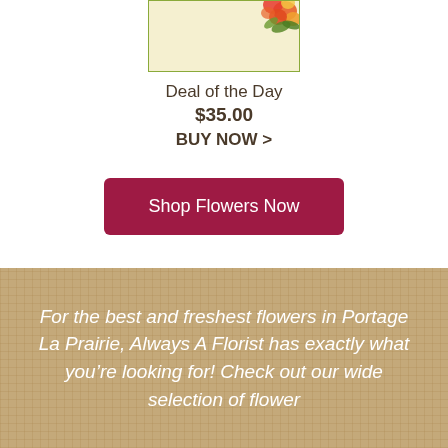[Figure (illustration): A small floral card with flower arrangement in top-right corner, cream/yellow background with green border]
Deal of the Day
$35.00
BUY NOW >
Shop Flowers Now
For the best and freshest flowers in Portage La Prairie, Always A Florist has exactly what you’re looking for! Check out our wide selection of flower